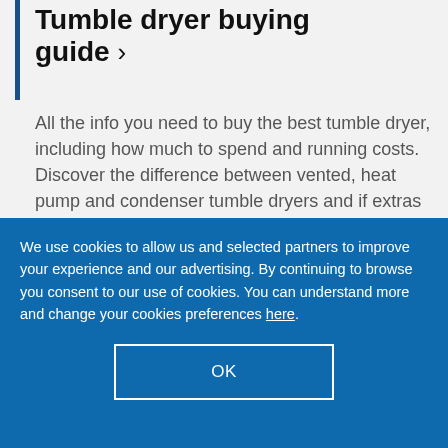Tumble dryer buying guide >
All the info you need to buy the best tumble dryer, including how much to spend and running costs. Discover the difference between vented, heat pump and condenser tumble dryers and if extras like automatic sensors are worth it.
We use cookies to allow us and selected partners to improve your experience and our advertising. By continuing to browse you consent to our use of cookies. You can understand more and change your cookies preferences here.